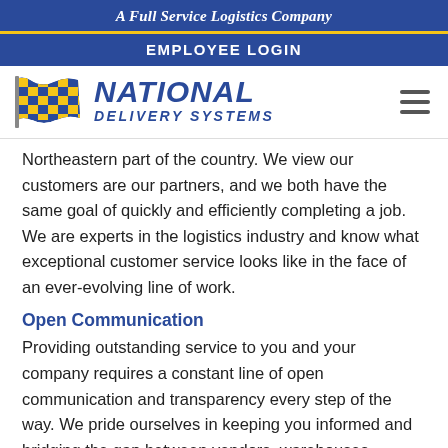A Full Service Logistics Company
EMPLOYEE LOGIN
[Figure (logo): National Delivery Systems logo with checkered flag and company name]
Northeastern part of the country. We view our customers are our partners, and we both have the same goal of quickly and efficiently completing a job. We are experts in the logistics industry and know what exceptional customer service looks like in the face of an ever-evolving line of work.
Open Communication
Providing outstanding service to you and your company requires a constant line of open communication and transparency every step of the way. We pride ourselves in keeping you informed and bridging the gap between vendors, warehouses,